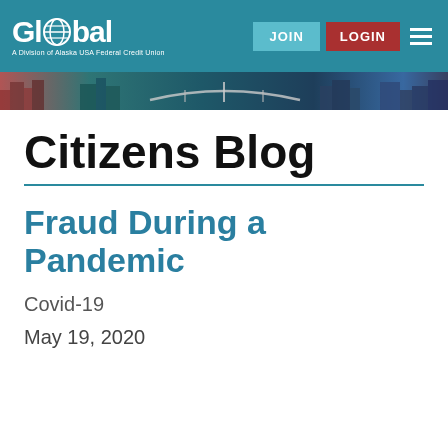Global — A Division of Alaska USA Federal Credit Union | JOIN | LOGIN
[Figure (photo): City skyline banner with teal/red color overlay showing buildings and a bridge]
Citizens Blog
Fraud During a Pandemic
Covid-19
May 19, 2020